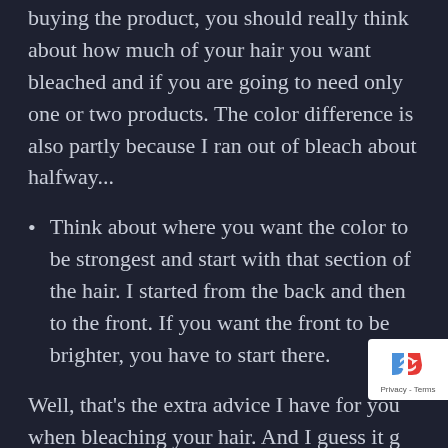buying the product, you should really think about how much of your hair you want bleached and if you are going to need only one or two products. The color difference is also partly because I ran out of bleach about halfway...
Think about where you want the color to be strongest and start with that section of the hair. I started from the back and then to the front. If you want the front to be brighter, you have to start there.
Well, that's the extra advice I have for you when bleaching your hair. And I guess it g for plain hair dyeing too. I hope this help for plain hair dyeing too. I hope this help